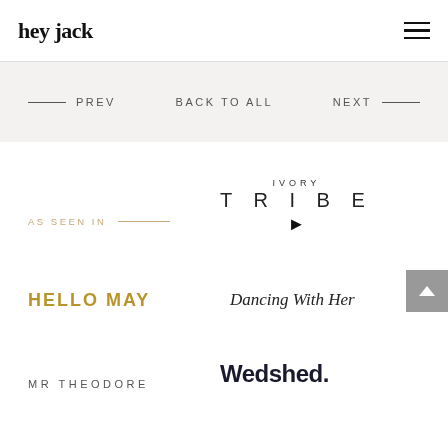hey jack
PREV    BACK TO ALL    NEXT
AS SEEN IN
[Figure (logo): Ivory Tribe logo with stylized text IVORY TRIBE and a feather/arrow icon]
[Figure (logo): HELLO MAY logo in gold/amber bold uppercase letters]
[Figure (logo): Dancing With Her logo in italic serif font]
[Figure (logo): MR THEODORE logo in spaced uppercase sans-serif]
[Figure (logo): Wedshed. logo in bold dark navy sans-serif]